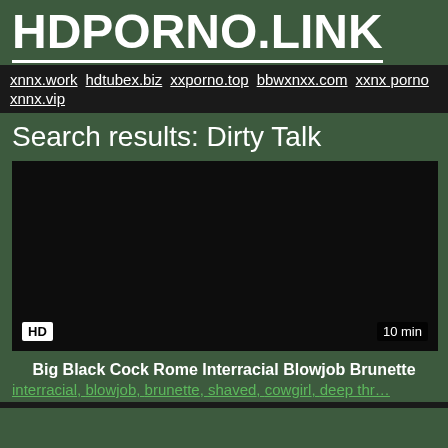HDPORNO.LINK
xnnx.work hdtubex.biz xxporno.top bbwxnxx.com xxnx porno xnnx.vip
Search results: Dirty Talk
[Figure (other): Dark video thumbnail with HD badge and 10 min duration label]
Big Black Cock Rome Interracial Blowjob Brunette
interracial, blowjob, brunette, shaved, cowgirl, deep thr…